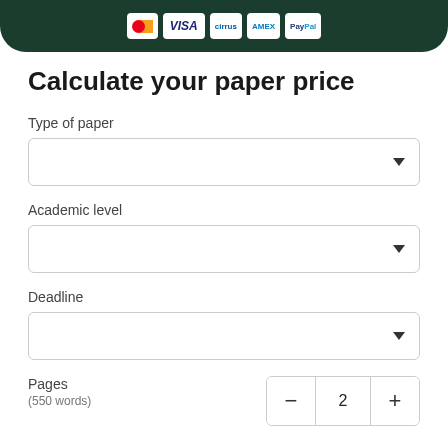[Figure (other): Dark green banner with payment method logos: Mastercard, Visa, Cirrus, Amex, PayPal]
Calculate your paper price
Type of paper
[Figure (other): Dropdown select box for Type of paper]
Academic level
[Figure (other): Dropdown select box for Academic level]
Deadline
[Figure (other): Dropdown select box for Deadline]
Pages
(550 words)
[Figure (other): Pages counter showing value 2 with minus and plus buttons]